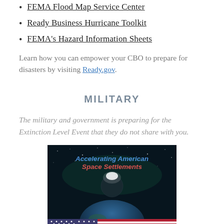FEMA Flood Map Service Center
Ready Business Hurricane Toolkit
FEMA's Hazard Information Sheets
Learn how you can empower your CBO to prepare for disasters by visiting Ready.gov.
MILITARY
The military and government is preparing for the Extinction Level Event that they do not share with you.
[Figure (illustration): Dark space background image with text 'Accelerating American Space Settlements' in blue and red italic font, showing a planet and Earth with an American flag at the bottom.]